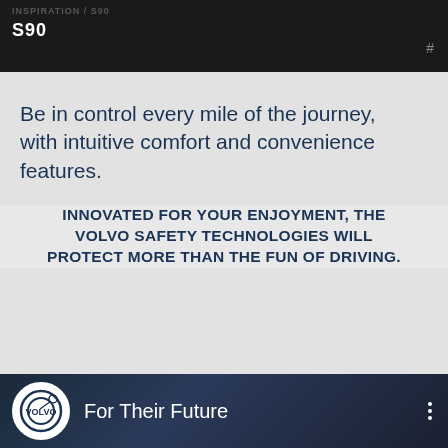INSPIRATION / S90 #
Be in control every mile of the journey, with intuitive comfort and convenience features.
INNOVATED FOR YOUR ENJOYMENT, THE VOLVO SAFETY TECHNOLOGIES WILL PROTECT MORE THAN THE FUN OF DRIVING.
[Figure (screenshot): Video thumbnail showing Volvo logo circle on dark blue background with text 'For Their Future' and three-dot menu icon]